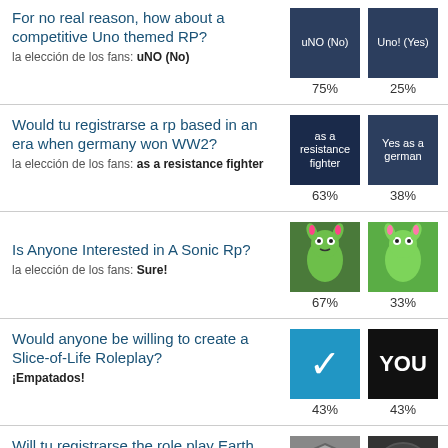For no real reason, how about a competitive Uno themed RP?
la elección de los fans: uNO (No)
uNO (No): 75%, Uno! (Yes): 25%
Would tu registrarse a rp based in an era when germany won WW2?
la elección de los fans: as a resistance fighter
as a resistance fighter: 63%, Yes as a german: 38%
Is Anyone Interested in A Sonic Rp?
la elección de los fans: Sure!
67%, 33%
Would anyone be willing to create a Slice-of-Life Roleplay?
¡Empatados!
43%, 43%
Will tu registrarse the role play Earth 616 - A Marvel Universe Role Play?